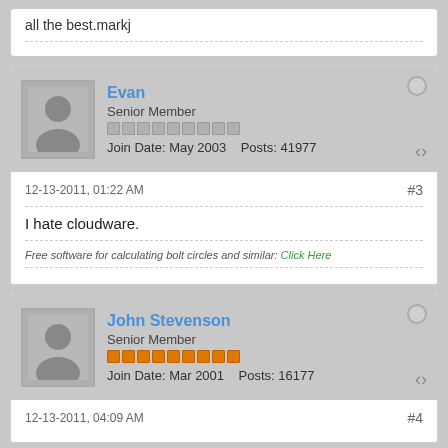all the best.markj
Evan
Senior Member
Join Date: May 2003  Posts: 41977
12-13-2011, 01:22 AM
#3
I hate cloudware.
Free software for calculating bolt circles and similar: Click Here
John Stevenson
Senior Member
Join Date: Mar 2001  Posts: 16177
12-13-2011, 04:09 AM
#4